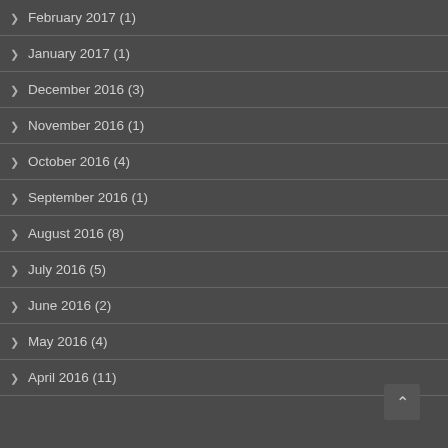February 2017 (1)
January 2017 (1)
December 2016 (3)
November 2016 (1)
October 2016 (4)
September 2016 (1)
August 2016 (8)
July 2016 (5)
June 2016 (2)
May 2016 (4)
April 2016 (11)